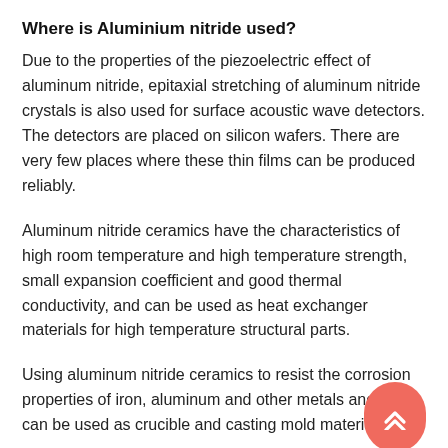Where is Aluminium nitride used?
Due to the properties of the piezoelectric effect of aluminum nitride, epitaxial stretching of aluminum nitride crystals is also used for surface acoustic wave detectors. The detectors are placed on silicon wafers. There are very few places where these thin films can be produced reliably.
Aluminum nitride ceramics have the characteristics of high room temperature and high temperature strength, small expansion coefficient and good thermal conductivity, and can be used as heat exchanger materials for high temperature structural parts.
Using aluminum nitride ceramics to resist the corrosion properties of iron, aluminum and other metals and alloys, can be used as crucible and casting mold materials for